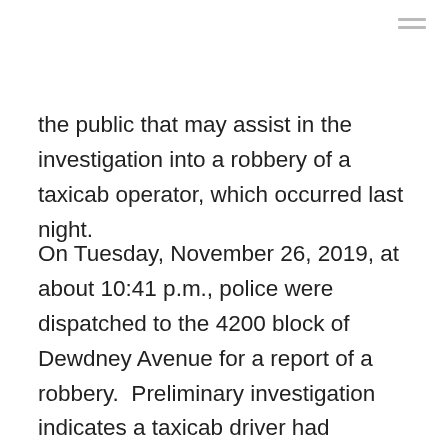≡
the public that may assist in the investigation into a robbery of a taxicab operator, which occurred last night.
On Tuesday, November 26, 2019, at about 10:41 p.m., police were dispatched to the 4200 block of Dewdney Avenue for a report of a robbery.  Preliminary investigation indicates a taxicab driver had transported an adult male and adult female from the 1300 block of Athol Street to a restaurant in the 4200 block of Dewdney Avenue.  When the driver asked for payment, the male suspect handed him some money.  When the driver went to make change, he realized the male suspect had grabbed a pouch in which the driver kept all of his money.  The driver got the pouch back, but it was missing